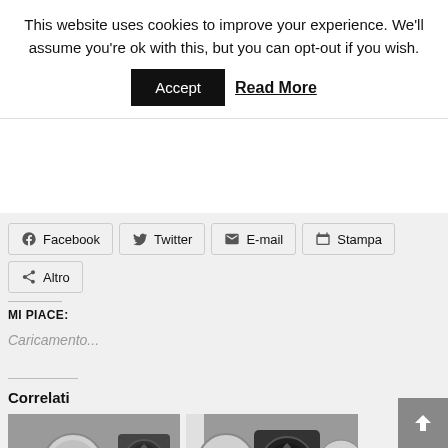This website uses cookies to improve your experience. We'll assume you're ok with this, but you can opt-out if you wish.
Accept   Read More
Facebook
Twitter
E-mail
Stampa
Altro
MI PIACE:
Caricamento...
Correlati
[Figure (photo): Two thumbnail photos of electronic/fan equipment]
[Figure (other): Back to top button arrow]